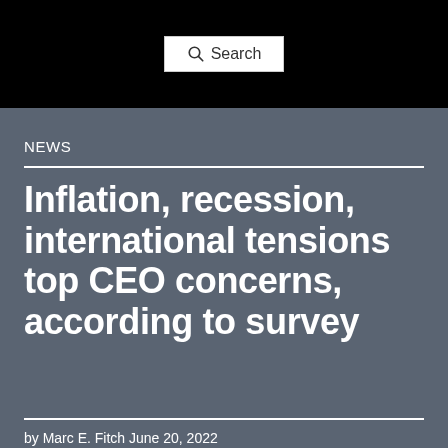[Figure (screenshot): Search bar UI element with magnifying glass icon and 'Search' placeholder text on black navigation bar background]
NEWS
Inflation, recession, international tensions top CEO concerns, according to survey
by Marc E. Fitch  June 20, 2022